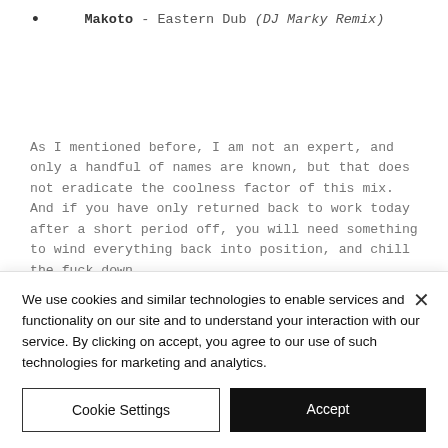Makoto - Eastern Dub (DJ Marky Remix)
As I mentioned before, I am not an expert, and only a handful of names are known, but that does not eradicate the coolness factor of this mix. And if you have only returned back to work today after a short period off, you will need something to wind everything back into position, and chill the fuck down.
We use cookies and similar technologies to enable services and functionality on our site and to understand your interaction with our service. By clicking on accept, you agree to our use of such technologies for marketing and analytics.